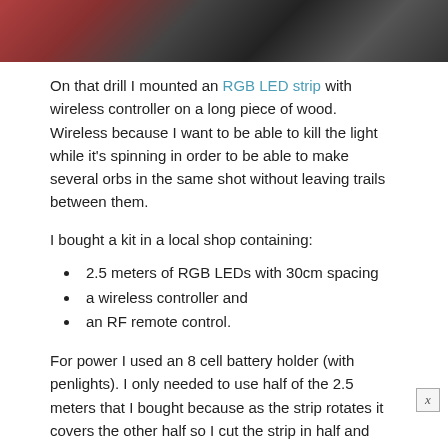[Figure (photo): Partial photo of a person wearing a graduation cap, cropped at top of page]
On that drill I mounted an RGB LED strip with wireless controller on a long piece of wood. Wireless because I want to be able to kill the light while it's spinning in order to be able to make several orbs in the same shot without leaving trails between them.
I bought a kit in a local shop containing:
2.5 meters of RGB LEDs with 30cm spacing
a wireless controller and
an RF remote control.
For power I used an 8 cell battery holder (with penlights). I only needed to use half of the 2.5 meters that I bought because as the strip rotates it covers the other half so I cut the strip in half and saved the rest for another application. Alternatively you can go for the cheaper (but good) IKEA RGB strips, and replace the AC adapter's wires with wires leading to the battery holder.